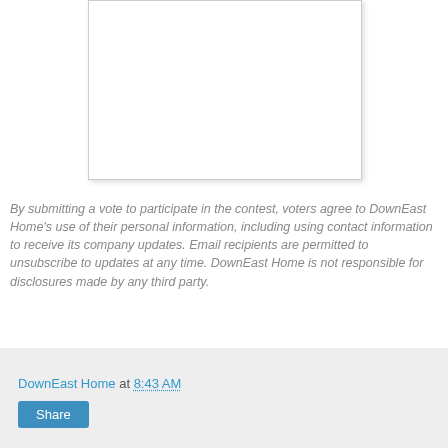[Figure (other): White rectangular image/content area with border and drop shadow]
By submitting a vote to participate in the contest, voters agree to DownEast Home's use of their personal information, including using contact information to receive its company updates. Email recipients are permitted to unsubscribe to updates at any time. DownEast Home is not responsible for disclosures made by any third party.
DownEast Home at 8:43 AM  Share